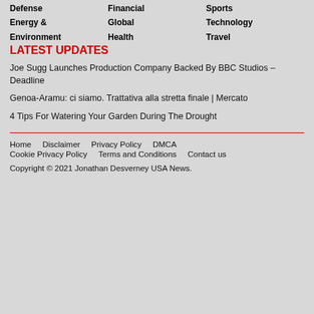Defense
Energy & Environment
Financial
Global
Health
Sports
Technology
Travel
LATEST UPDATES
Joe Sugg Launches Production Company Backed By BBC Studios – Deadline
Genoa-Aramu: ci siamo. Trattativa alla stretta finale | Mercato
4 Tips For Watering Your Garden During The Drought
Home   Disclaimer   Privacy Policy   DMCA   Cookie Privacy Policy   Terms and Conditions   Contact us
Copyright © 2021 Jonathan Desverney USA News.